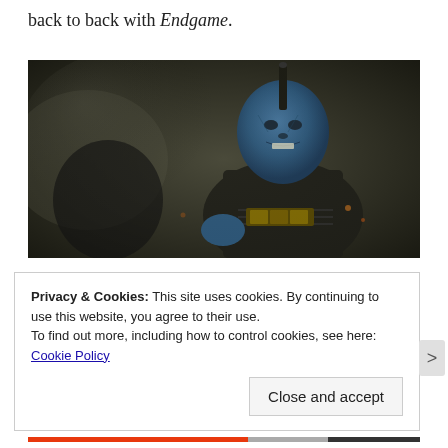back to back with Endgame.
[Figure (photo): A blue-skinned sci-fi character with a mohawk fin on their head, wearing dark armor, in a dramatic pose against a smoky, dark background. Film still from a Marvel movie.]
Privacy & Cookies: This site uses cookies. By continuing to use this website, you agree to their use.
To find out more, including how to control cookies, see here:
Cookie Policy
Close and accept